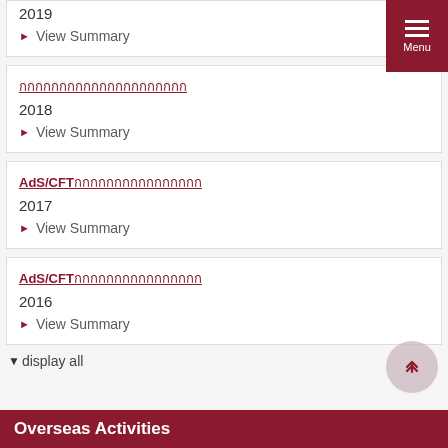2019
View Summary
2018
View Summary
AdS/CFT (2017)
View Summary
AdS/CFT (2016)
View Summary
display all
Overseas Activities